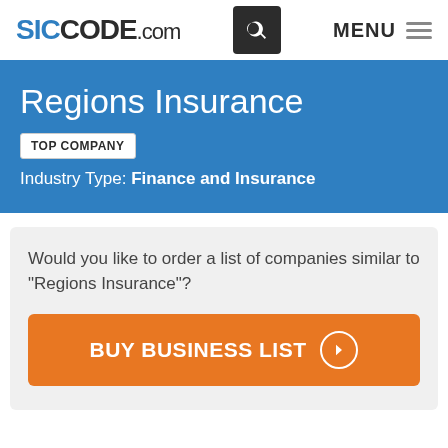SICCODE.com — MENU
Regions Insurance
TOP COMPANY
Industry Type: Finance and Insurance
Would you like to order a list of companies similar to "Regions Insurance"?
BUY BUSINESS LIST